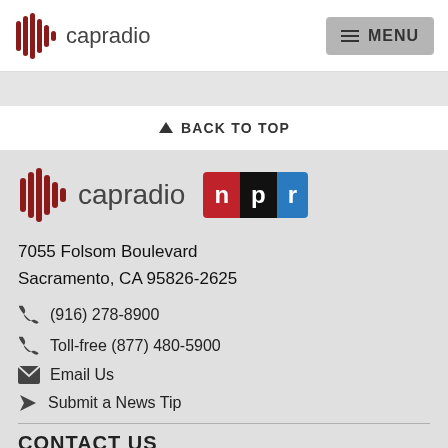capradio | MENU
BACK TO TOP
[Figure (logo): CapRadio logo with sound wave icon and NPR badge]
7055 Folsom Boulevard
Sacramento, CA 95826-2625
(916) 278-8900
Toll-free (877) 480-5900
Email Us
Submit a News Tip
CONTACT US